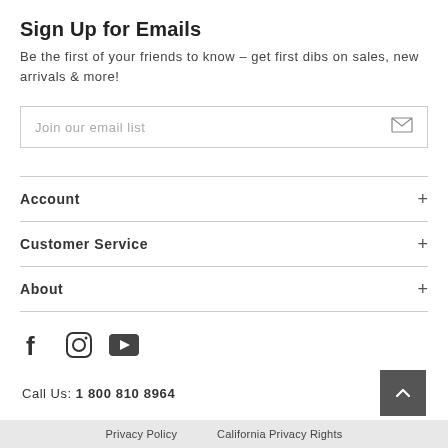Sign Up for Emails
Be the first of your friends to know – get first dibs on sales, new arrivals & more!
Join our email list
Account
Customer Service
About
[Figure (other): Social media icons: Facebook, Instagram, YouTube]
Call Us: 1 800 810 8964
Privacy Policy   California Privacy Rights